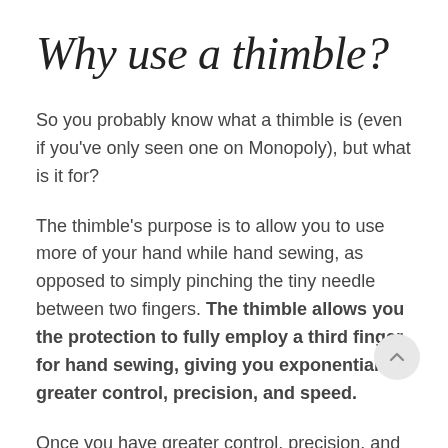Why use a thimble?
So you probably know what a thimble is (even if you've only seen one on Monopoly), but what is it for?
The thimble's purpose is to allow you to use more of your hand while hand sewing, as opposed to simply pinching the tiny needle between two fingers. The thimble allows you the protection to fully employ a third finger for hand sewing, giving you exponentially greater control, precision, and speed.
Once you have greater control, precision, and